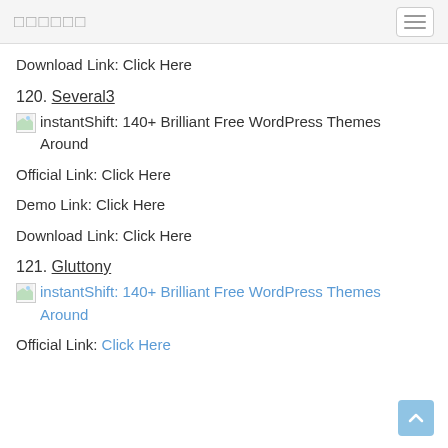□□□□□□
Download Link: Click Here
120. Several3
[Figure (photo): Broken image placeholder with alt text: instantShift: 140+ Brilliant Free WordPress Themes Around]
Official Link: Click Here
Demo Link: Click Here
Download Link: Click Here
121. Gluttony
[Figure (photo): Broken image placeholder with alt text: instantShift: 140+ Brilliant Free WordPress Themes Around (shown in blue link color)]
Official Link: Click Here